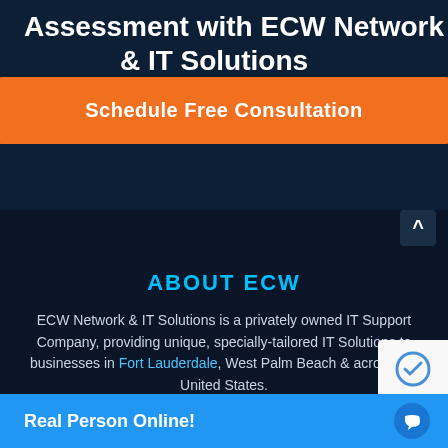Assessment with ECW Network & IT Solutions
Schedule Free Consultation
ABOUT ECW
ECW Network & IT Solutions is a privately owned IT Support Company, providing unique, specially-tailored IT Solutions to businesses in Fort Lauderdale, West Palm Beach & acro... United States.
Real Person Online!